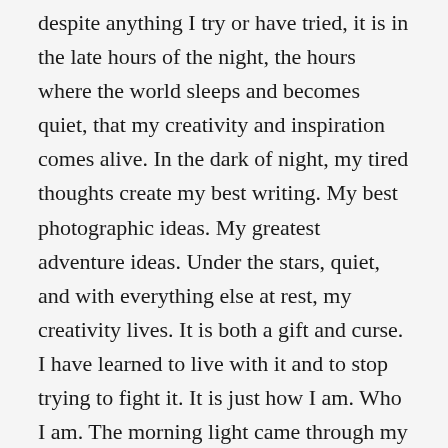despite anything I try or have tried, it is in the late hours of the night, the hours where the world sleeps and becomes quiet, that my creativity and inspiration comes alive. In the dark of night, my tired thoughts create my best writing. My best photographic ideas. My greatest adventure ideas. Under the stars, quiet, and with everything else at rest, my creativity lives. It is both a gift and curse. I have learned to live with it and to stop trying to fight it. It is just how I am. Who I am. The morning light came through my tent and it was time to get up and start the new day.
Day 4 on the Colorado River had begun. After breakfast, a group of us hiked up to the Nankoweap granaries. These amazing sites were once used as storage for foods such as corn and pumpkin seeds for